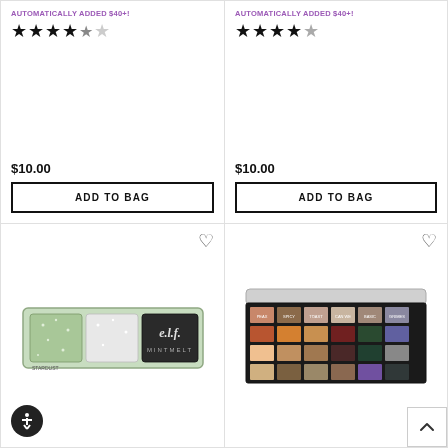AUTOMATICALLY ADDED $40+!
★★★★½
$10.00
ADD TO BAG
AUTOMATICALLY ADDED $40+!
★★★★☆
$10.00
ADD TO BAG
[Figure (photo): e.l.f. Mint Melt eyeshadow palette with green and grey shades]
[Figure (photo): Large multi-color eyeshadow palette with orange, purple, brown and neutral shades in a 3x5 grid]